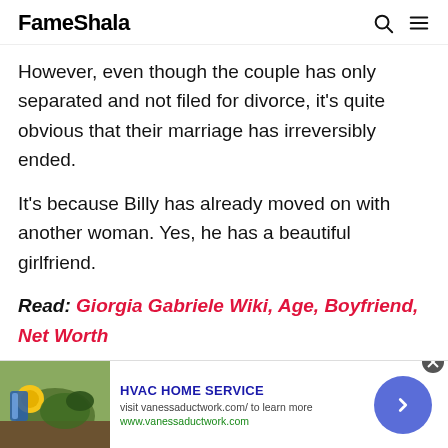FameShala
However, even though the couple has only separated and not filed for divorce, it's quite obvious that their marriage has irreversibly ended.
It's because Billy has already moved on with another woman. Yes, he has a beautiful girlfriend.
Read: Giorgia Gabriele Wiki, Age, Boyfriend, Net Worth
Billy LeBlanc's New Girlfriend
[Figure (screenshot): Advertisement banner for HVAC Home Service showing gardening image, title, URL and navigation arrow button]